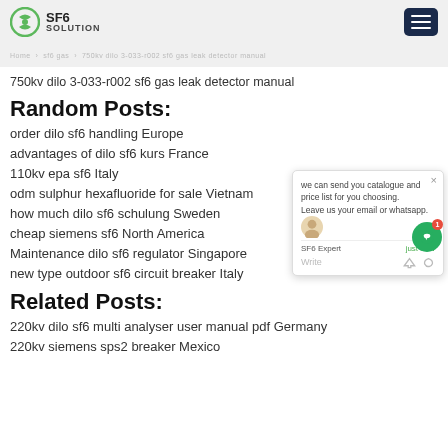SF6 SOLUTION
750kv dilo 3-033-r002 sf6 gas leak detector manual
Random Posts:
order dilo sf6 handling Europe
advantages of dilo sf6 kurs France
110kv epa sf6 Italy
odm sulphur hexafluoride for sale Vietnam
how much dilo sf6 schulung Sweden
cheap siemens sf6 North America
Maintenance dilo sf6 regulator Singapore
new type outdoor sf6 circuit breaker Italy
Related Posts:
220kv dilo sf6 multi analyser user manual pdf Germany
220kv siemens sps2 breaker Mexico